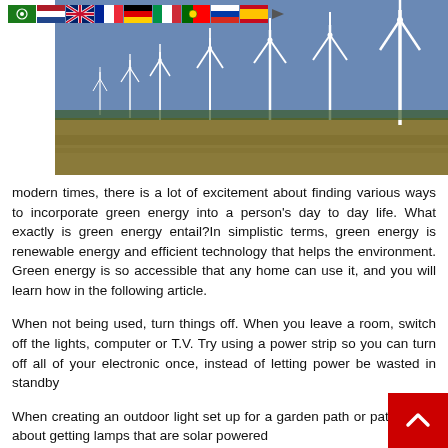[Figure (photo): A wind farm with multiple large white wind turbines against a blue sky, over a flat landscape with water reflections. Colorful country flags (Arabic, Netherlands, UK, France, Germany, Italy, Portugal, Russia, Spain) appear in the upper left as a navigation row.]
modern times, there is a lot of excitement about finding various ways to incorporate green energy into a person’s day to day life. What exactly is green energy entail?In simplistic terms, green energy is renewable energy and efficient technology that helps the environment. Green energy is so accessible that any home can use it, and you will learn how in the following article.
When not being used, turn things off. When you leave a room, switch off the lights, computer or T.V. Try using a power strip so you can turn off all of your electronic once, instead of letting power be wasted in standby
When creating an outdoor light set up for a garden path or patio, think about getting lamps that are solar powered